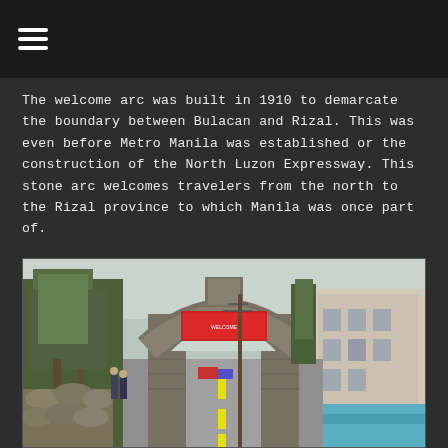≡
The welcome arc was built in 1910 to demarcate the boundary between Bulacan and Rizal. This was even before Metro Manila was established or the construction of the North Luzon Expressway. This stone arc welcomes travelers from the north to the Rizal province to which Manila was once part of.
[Figure (photo): Street-level photograph of a historic stone arch spanning a road, with trees on the left, buildings on the right, a red banner/sign on the arch, and a straight road leading through the arch into the distance. Sandbags visible on the left side of the road.]